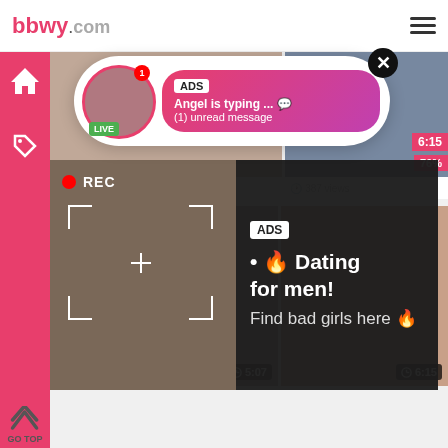bbwy[...]com
[Figure (screenshot): Website screenshot showing adult content video thumbnails with overlaid ad popups. Top notification popup: 'ADS - Angel is typing ... (1) unread message' with LIVE avatar. Large dark ad overlay: 'ADS • Dating for men! Find bad girls here' with REC video thumbnail. Bottom row video thumbnails with durations 5:07 and 6:15.]